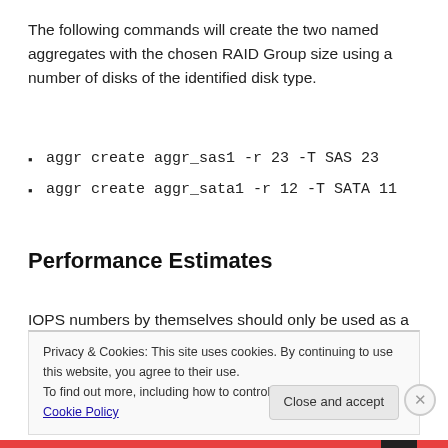The following commands will create the two named aggregates with the chosen RAID Group size using a number of disks of the identified disk type.
aggr create aggr_sas1 -r 23 -T SAS 23
aggr create aggr_sata1 -r 12 -T SATA 11
Performance Estimates
IOPS numbers by themselves should only be used as a
Privacy & Cookies: This site uses cookies. By continuing to use this website, you agree to their use.
To find out more, including how to control cookies, see here: Cookie Policy